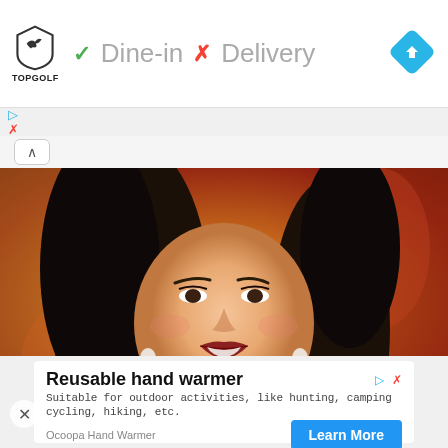[Figure (logo): Topgolf logo - shield with bird shape and TOPGOLF text]
✓ Dine-in  ✗ Delivery
[Figure (illustration): Blue diamond navigation icon with right-turn arrow]
[Figure (photo): Close-up photo of a smiling Asian woman with dark hair against a warm golden/red background, video thumbnail]
Reusable hand warmer
Suitable for outdoor activities, like hunting, camping cycling, hiking, etc.
Ocoopa Hand Warmer
Learn More